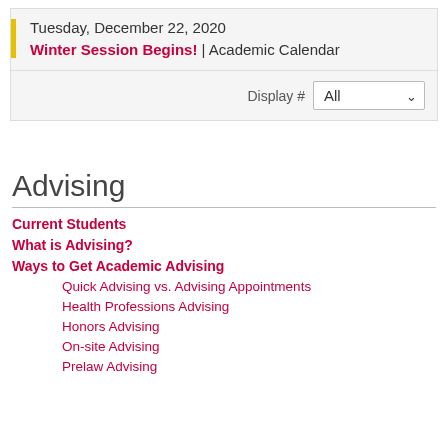Tuesday, December 22, 2020
Winter Session Begins! | Academic Calendar
Display # All
Advising
Current Students
What is Advising?
Ways to Get Academic Advising
Quick Advising vs. Advising Appointments
Health Professions Advising
Honors Advising
On-site Advising
Prelaw Advising